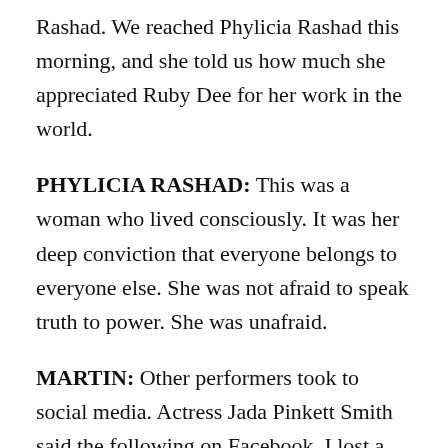Rashad. We reached Phylicia Rashad this morning, and she told us how much she appreciated Ruby Dee for her work in the world.
PHYLICIA RASHAD: This was a woman who lived consciously. It was her deep conviction that everyone belongs to everyone else. She was not afraid to speak truth to power. She was unafraid.
MARTIN: Other performers took to social media. Actress Jada Pinkett Smith said the following on Facebook. I lost a cherished friend yesterday. Rest in peace Ruby Dee. Thank you for the gifts you shared with the world, and thank you for the time and wisdom shared with me. But most importantly, thank you for the care you always showed me. I miss you already.